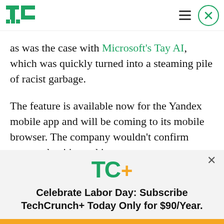TechCrunch header with logo, hamburger menu, and close button
as was the case with Microsoft's Tay AI, which was quickly turned into a steaming pile of racist garbage.
The feature is available now for the Yandex mobile app and will be coming to its mobile browser. The company wouldn't confirm rumors that it's working
[Figure (logo): TC+ logo in green and orange/yellow]
Celebrate Labor Day: Subscribe TechCrunch+ Today Only for $90/Year.
GET OFFER NOW